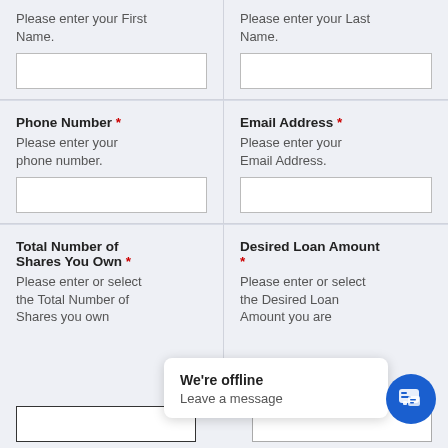Please enter your First Name.
Please enter your Last Name.
Phone Number *
Please enter your phone number.
Email Address *
Please enter your Email Address.
Total Number of Shares You Own *
Please enter or select the Total Number of Shares you own
Desired Loan Amount *
Please enter or select the Desired Loan Amount you are
We're offline
Leave a message